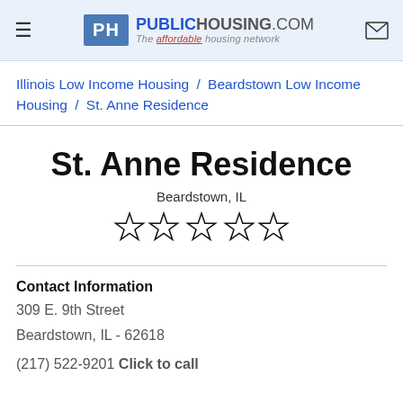PublicHousing.com — The affordable housing network
Illinois Low Income Housing / Beardstown Low Income Housing / St. Anne Residence
St. Anne Residence
Beardstown, IL
[Figure (other): Five empty star rating icons]
Contact Information
309 E. 9th Street
Beardstown, IL - 62618
(217) 522-9201 Click to call